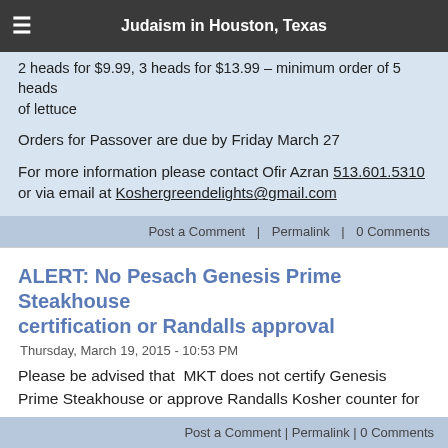Judaism in Houston, Texas
2 heads for $9.99, 3 heads for $13.99 – minimum order of 5 heads of lettuce
Orders for Passover are due by Friday March 27
For more information please contact Ofir Azran 513.601.5310 or via email at Koshergreendelights@gmail.com
Post a Comment | Permalink | 0 Comments
ALERT: No Pesach Genesis Prime Steakhouse certification or Randalls approval
Thursday, March 19, 2015 - 10:53 PM
Please be advised that MKT does not certify Genesis Prime Steakhouse or approve Randalls Kosher counter for Pesach.
Post a Comment | Permalink | 0 Comments